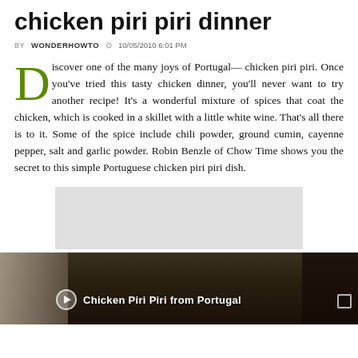chicken piri piri dinner
BY WONDERHOWTO  10/05/2010 6:01 PM
Discover one of the many joys of Portugal— chicken piri piri. Once you've tried this tasty chicken dinner, you'll never want to try another recipe! It's a wonderful mixture of spices that coat the chicken, which is cooked in a skillet with a little white wine. That's all there is to it. Some of the spice include chili powder, ground cumin, cayenne pepper, salt and garlic powder. Robin Benzle of Chow Time shows you the secret to this simple Portuguese chicken piri piri dish.
[Figure (screenshot): Gray placeholder rectangle for embedded video]
[Figure (screenshot): Video thumbnail showing 'Chicken Piri Piri from Portugal' with play button overlay and dark-toned cooking scene]